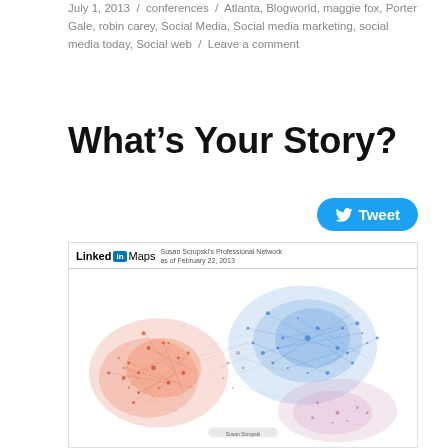July 1, 2013 / conferences / Atlanta, Blogworld, maggie fox, Porter Gale, robin carey, Social Media, Social media marketing, social media today, Social web / Leave a comment
What's Your Story?
[Figure (network-graph): LinkedIn Maps visualization of Susan Scrupski's Professional Network as of February 22, 2013. A colorful network graph showing interconnected nodes in clusters of red/orange, blue, and pink/purple colors against a white background.]